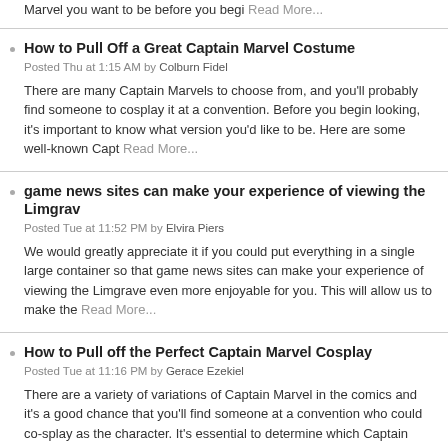Marvel you want to be before you begi Read More...
How to Pull Off a Great Captain Marvel Costume
Posted Thu at 1:15 AM by Colburn Fidel
There are many Captain Marvels to choose from, and you'll probably find someone to cosplay it at a convention. Before you begin looking, it's important to know what version you'd like to be. Here are some well-known Capt Read More...
game news sites can make your experience of viewing the Limgrav
Posted Tue at 11:52 PM by Elvira Piers
We would greatly appreciate it if you could put everything in a single large container so that game news sites can make your experience of viewing the Limgrave even more enjoyable for you. This will allow us to make the Read More...
How to Pull off the Perfect Captain Marvel Cosplay
Posted Tue at 11:16 PM by Gerace Ezekiel
There are a variety of variations of Captain Marvel in the comics and it's a good chance that you'll find someone at a convention who could co-splay as the character. It's essential to determine which Captain Marvel vers Read More...